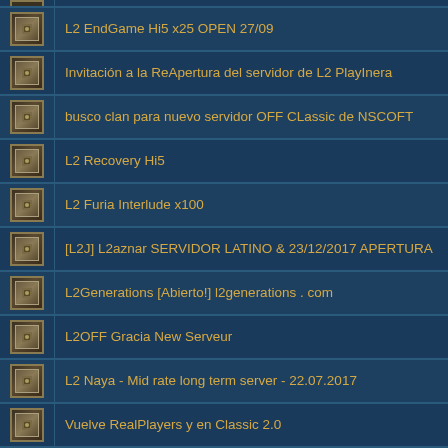L2 EndGame Hi5 x25 OPEN 27/09
Invitación a la ReApertura del servidor de L2 PlayInera
busco clan para nuevo servidor OFF CLassic de NSCOFT
L2 Recovery Hi5
L2 Furia Interlude x100
[L2J] L2aznar SERVIDOR LATINO & 23/12/2017 APERTURA
L2Generations [Abierto!] l2generations . com
L2OFF Gracia New Serveur
L2 Naya - Mid rate long term server - 22.07.2017
Vuelve RealPlayers y en Classic 2.0
Lineage 2 Reality PTS G.O 5/6/2017 5x H5
L2 Thalassic OPEN 31/03/17